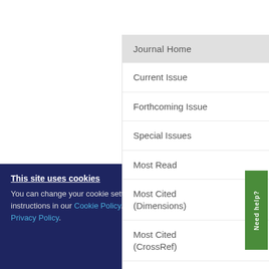Journal Home
Current Issue
Forthcoming Issue
Special Issues
Most Read
Most Cited (Dimensions)
Most Cited (CrossRef)
Social Media
ATP-s... and m...
Authors:
M...
View...
Pub...
Pages: ...10...
Need help?
This site uses cookies
You can change your cookie settings at any time by following the instructions in our Cookie Policy. To find out more, you may read our Privacy Policy.
I agree